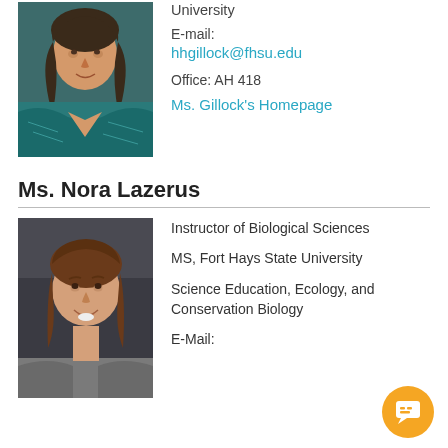[Figure (photo): Profile photo of Ms. Gillock wearing teal patterned top]
University
E-mail:
hhgillock@fhsu.edu
Office: AH 418
Ms. Gillock's Homepage
Ms. Nora Lazerus
[Figure (photo): Profile photo of Ms. Nora Lazerus smiling, wearing grey top, dark background]
Instructor of Biological Sciences
MS, Fort Hays State University
Science Education, Ecology, and Conservation Biology
E-Mail: